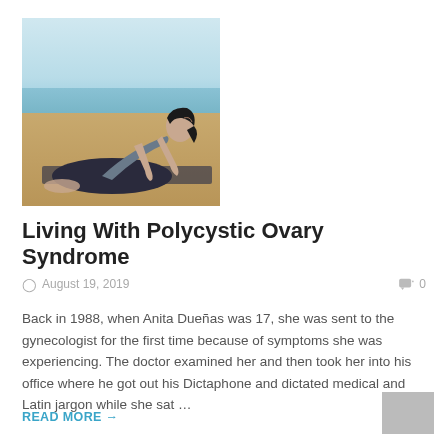[Figure (photo): Woman doing a yoga cobra pose on a beach mat near the ocean, wearing dark leggings and a light top, head tilted back.]
Living With Polycystic Ovary Syndrome
August 19, 2019   0
Back in 1988, when Anita Dueñas was 17, she was sent to the gynecologist for the first time because of symptoms she was experiencing. The doctor examined her and then took her into his office where he got out his Dictaphone and dictated medical and Latin jargon while she sat …
READ MORE →